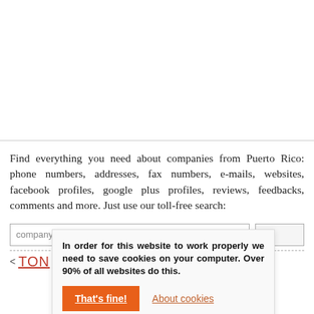Find everything you need about companies from Puerto Rico: phone numbers, addresses, fax numbers, e-mails, websites, facebook profiles, google plus profiles, reviews, feedbacks, comments and more. Just use our toll-free search:
company title or phone
In order for this website to work properly we need to save cookies on your computer. Over 90% of all websites do this.
That's fine!
About cookies
TON